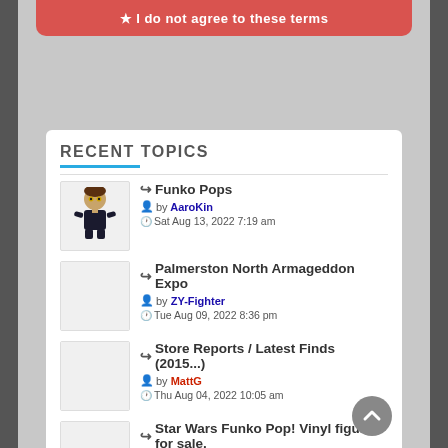★ I do not agree to these terms
RECENT TOPICS
Funko Pops — by AaroKin — Sat Aug 13, 2022 7:19 am
Palmerston North Armageddon Expo — by ZY-Fighter — Tue Aug 09, 2022 8:36 pm
Store Reports / Latest Finds (2015...) — by MattG — Thu Aug 04, 2022 10:05 am
Star Wars Funko Pop! Vinyl figures for sale. — by MattG — Sun Jul 31, 2022 2:00 am
FS: Cassian Ander... Pop! Vinyl Figure...